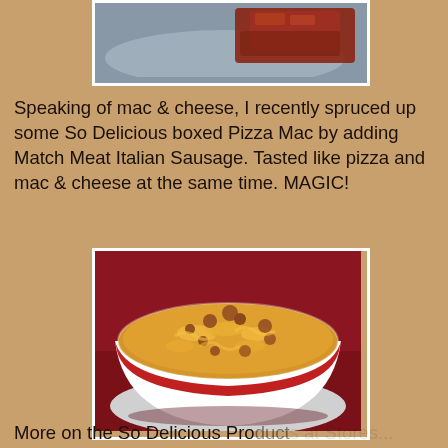[Figure (photo): Partial photo of food on a metal/silver plate, visible at top of page]
Speaking of mac & cheese, I recently spruced up some So Delicious boxed Pizza Mac by adding Match Meat Italian Sausage. Tasted like pizza and mac & cheese at the same time. MAGIC!
[Figure (photo): A white bowl with red stripe containing macaroni and cheese with Italian sausage crumbles, on a red background]
More on the So Delicious Products at Stores...